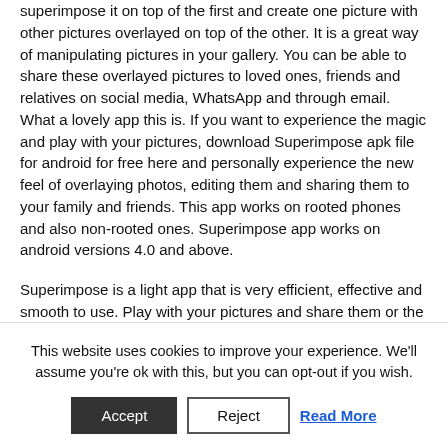superimpose it on top of the first and create one picture with other pictures overlayed on top of the other. It is a great way of manipulating pictures in your gallery. You can be able to share these overlayed pictures to loved ones, friends and relatives on social media, WhatsApp and through email. What a lovely app this is. If you want to experience the magic and play with your pictures, download Superimpose apk file for android for free here and personally experience the new feel of overlaying photos, editing them and sharing them to your family and friends. This app works on rooted phones and also non-rooted ones. Superimpose app works on android versions 4.0 and above.
Superimpose is a light app that is very efficient, effective and smooth to use. Play with your pictures and share them or the
This website uses cookies to improve your experience. We'll assume you're ok with this, but you can opt-out if you wish.